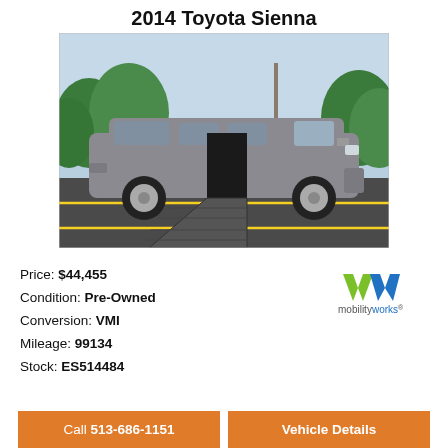2014 Toyota Sienna
[Figure (photo): A gray 2014 Toyota Sienna minivan with the side door open and a wheelchair ramp extended, parked in a parking lot. Trees and a utility pole visible in background.]
Price: $44,455
Condition: Pre-Owned
Conversion: VMI
Mileage: 99134
Stock: ES514484
[Figure (logo): MobilityWorks logo: green and blue stylized MW mark above the text 'mobilityworks']
Call 513-686-1151
Vehicle Details